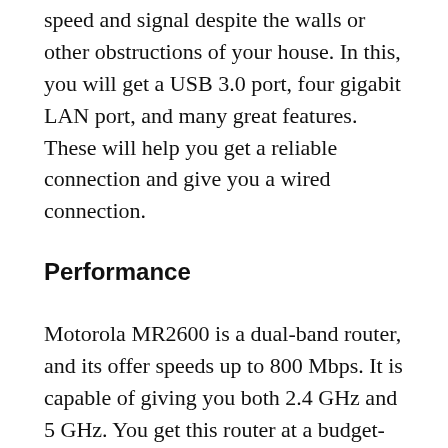speed and signal despite the walls or other obstructions of your house. In this, you will get a USB 3.0 port, four gigabit LAN port, and many great features. These will help you get a reliable connection and give you a wired connection.
Performance
Motorola MR2600 is a dual-band router, and its offer speeds up to 800 Mbps. It is capable of giving you both 2.4 GHz and 5 GHz. You get this router at a budget-friendly price, and give you the Wave 2 MU-MIMO facility. With its help, you can stream multiple devices at the same time. Even if you are an online gamer, this router is right for you. It streams without interruption. It also gives you the facility of Beamforming and is the solution to your every problem.